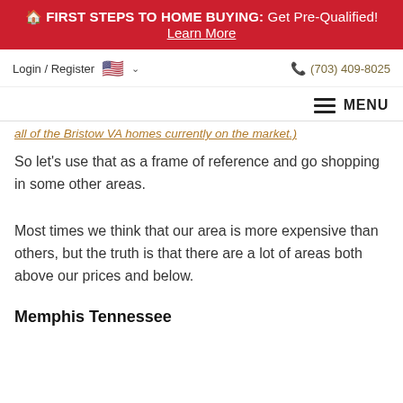FIRST STEPS TO HOME BUYING: Get Pre-Qualified! Learn More
Login / Register  (703) 409-8025
MENU
all of the Bristow VA homes currently on the market.)
So let's use that as a frame of reference and go shopping in some other areas.
Most times we think that our area is more expensive than others, but the truth is that there are a lot of areas both above our prices and below.
Memphis Tennessee